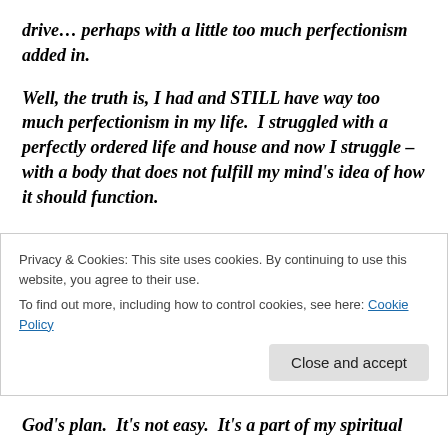drive… perhaps with a little too much perfectionism added in.
Well, the truth is, I had and STILL have way too much perfectionism in my life.  I struggled with a perfectly ordered life and house and now I struggle – with a body that does not fulfill my mind's idea of how it should function.
In my spiritual life, along the way, I have found the desire to meet God in all things – every situation I was in…
Privacy & Cookies: This site uses cookies. By continuing to use this website, you agree to their use.
To find out more, including how to control cookies, see here: Cookie Policy
Close and accept
God's plan.  It's not easy.  It's a part of my spiritual